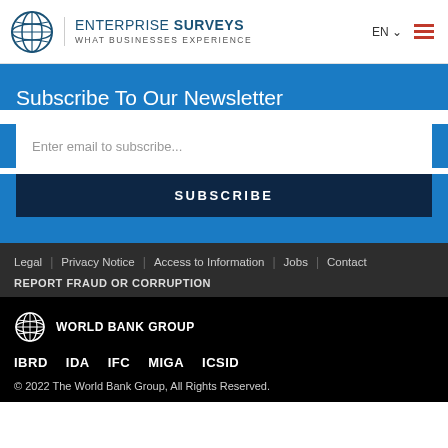ENTERPRISE SURVEYS - WHAT BUSINESSES EXPERIENCE
Subscribe To Our Newsletter
Enter email to subscribe...
SUBSCRIBE
Legal | Privacy Notice | Access to Information | Jobs | Contact
REPORT FRAUD OR CORRUPTION
WORLD BANK GROUP
IBRD  IDA  IFC  MIGA  ICSID
© 2022 The World Bank Group, All Rights Reserved.